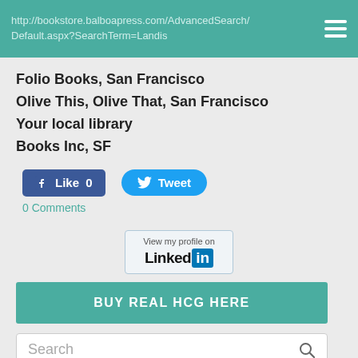http://bookstore.balboapress.com/AdvancedSearch/Default.aspx?SearchTerm=Landis
Folio Books, San Francisco
Olive This, Olive That, San Francisco
Your local library
Books Inc, SF
[Figure (screenshot): Facebook Like button showing count 0]
[Figure (screenshot): Twitter Tweet button]
0 Comments
[Figure (logo): LinkedIn View my profile on badge]
[Figure (screenshot): BUY REAL HCG HERE button]
[Figure (screenshot): Search bar with magnifier icon]